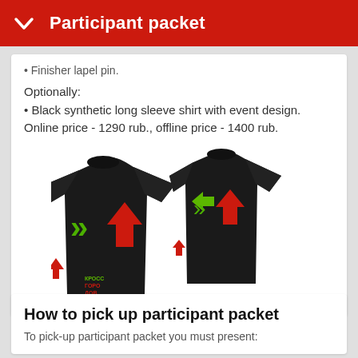Participant packet
• Finisher lapel pin.
Optionally:
• Black synthetic long sleeve shirt with event design. Online price - 1290 rub., offline price - 1400 rub.
[Figure (photo): Two black long sleeve shirts with red and green arrow designs on the front, shown from two angles (front and back). The shirts have arrow graphics on the chest and sleeve.]
How to pick up participant packet
To pick-up participant packet you must present: